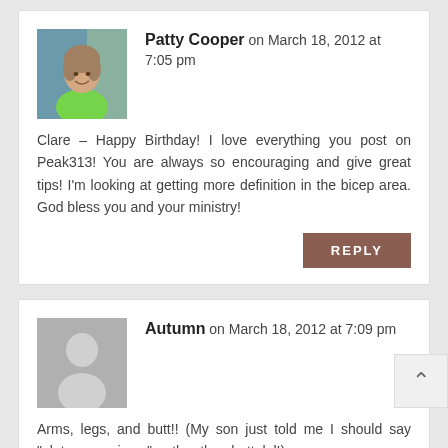Patty Cooper on March 18, 2012 at 7:05 pm — Clare – Happy Birthday! I love everything you post on Peak313! You are always so encouraging and give great tips! I'm looking at getting more definition in the bicep area. God bless you and your ministry!
REPLY
Autumn on March 18, 2012 at 7:09 pm — Arms, legs, and butt!! (My son just told me I should say "gluteus maximus", rather than butt, lol!)